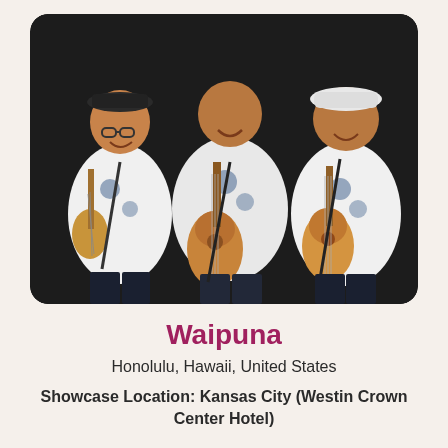[Figure (photo): Three men in white Hawaiian shirts playing guitars and ukulele, smiling, posed against a dark background. They are members of the band Waipuna.]
Waipuna
Honolulu, Hawaii, United States
Showcase Location: Kansas City (Westin Crown Center Hotel)